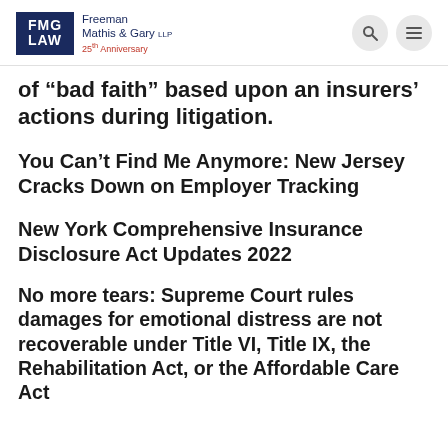FMG LAW | Freeman Mathis & Gary LLP | 25th Anniversary
of "bad faith" based upon an insurers' actions during litigation.
You Can't Find Me Anymore: New Jersey Cracks Down on Employer Tracking
New York Comprehensive Insurance Disclosure Act Updates 2022
No more tears: Supreme Court rules damages for emotional distress are not recoverable under Title VI, Title IX, the Rehabilitation Act, or the Affordable Care Act